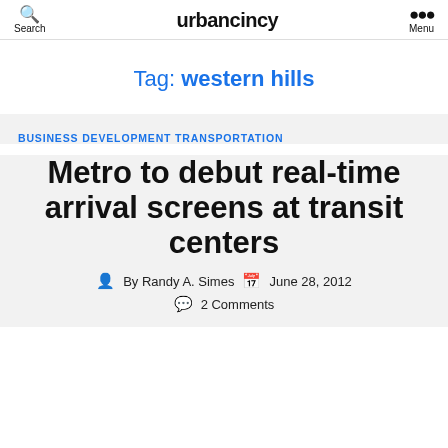Search  urbancincy  Menu
Tag: western hills
BUSINESS  DEVELOPMENT  TRANSPORTATION
Metro to debut real-time arrival screens at transit centers
By Randy A. Simes  June 28, 2012  2 Comments